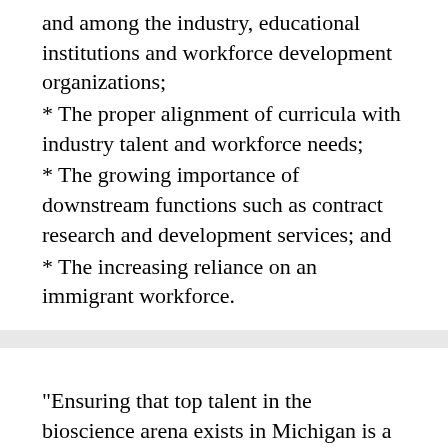and among the industry, educational institutions and workforce development organizations;
* The proper alignment of curricula with industry talent and workforce needs;
* The growing importance of downstream functions such as contract research and development services; and
* The increasing reliance on an immigrant workforce.
"Ensuring that top talent in the bioscience arena exists in Michigan is a key to our bio-industry and the state's future success," said Stephen Rapundalo, president and CEO of MichBio. "Highly educated and skilled bio-talent can produce a steady stream of